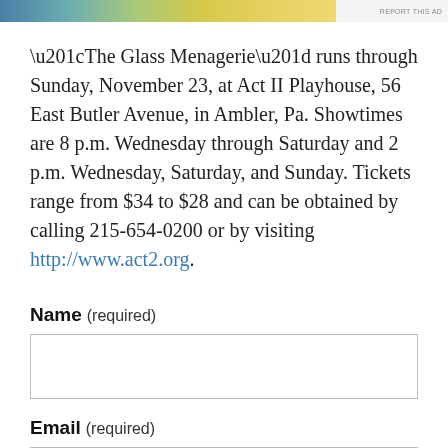[Figure (other): Horizontal gradient banner with blue to yellow-green colors and 'REPORT THIS AD' text on the right side]
“The Glass Menagerie” runs through Sunday, November 23, at Act II Playhouse, 56 East Butler Avenue, in Ambler, Pa. Showtimes are 8 p.m. Wednesday through Saturday and 2 p.m. Wednesday, Saturday, and Sunday. Tickets range from $34 to $28 and can be obtained by calling 215-654-0200 or by visiting http://www.act2.org.
Name (required)
Email (required)